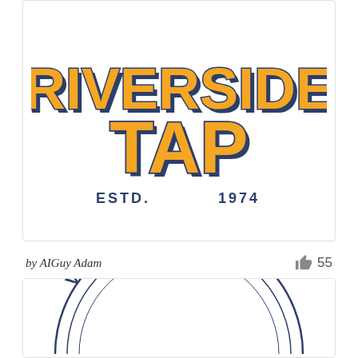[Figure (logo): Riverside Tap logo — large orange block serif text 'RIVERSIDE' and 'TAP' with dark navy outline and drop shadow, 'ESTD. 1974' below in navy]
by AIGuy Adam
55
[Figure (logo): Vana Beach circular badge logo — double concentric circle outline with 'VANA BEA...' text arcing along the top inside the circle, partially cropped]